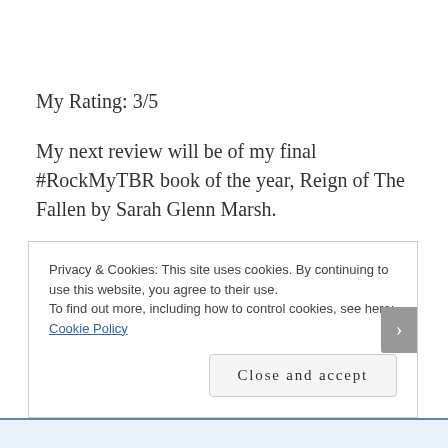My Rating: 3/5
My next review will be of my final #RockMyTBR book of the year, Reign of The Fallen by Sarah Glenn Marsh.
Privacy & Cookies: This site uses cookies. By continuing to use this website, you agree to their use.
To find out more, including how to control cookies, see here: Cookie Policy
Close and accept